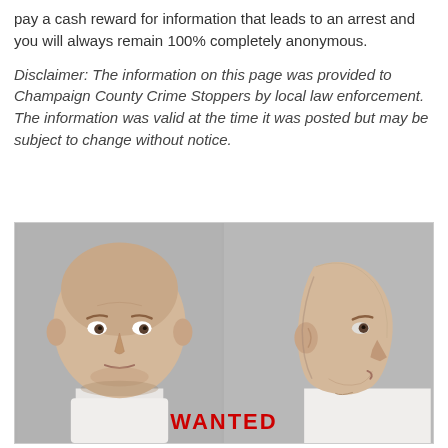pay a cash reward for information that leads to an arrest and you will always remain 100% completely anonymous.
Disclaimer: The information on this page was provided to Champaign County Crime Stoppers by local law enforcement. The information was valid at the time it was posted but may be subject to change without notice.
[Figure (photo): Two mugshot photos of a bald middle-aged white male, shown front-facing (left) and in profile/side view (right), wearing a white shirt. A red 'WANTED' label appears at the bottom center of the composite image.]